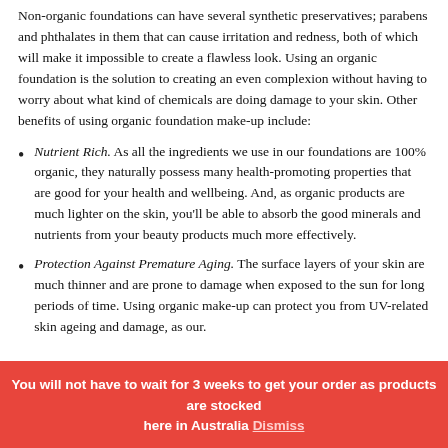Non-organic foundations can have several synthetic preservatives; parabens and phthalates in them that can cause irritation and redness, both of which will make it impossible to create a flawless look. Using an organic foundation is the solution to creating an even complexion without having to worry about what kind of chemicals are doing damage to your skin. Other benefits of using organic foundation make-up include:
Nutrient Rich. As all the ingredients we use in our foundations are 100% organic, they naturally possess many health-promoting properties that are good for your health and wellbeing. And, as organic products are much lighter on the skin, you'll be able to absorb the good minerals and nutrients from your beauty products much more effectively.
Protection Against Premature Aging. The surface layers of your skin are much thinner and are prone to damage when exposed to the sun for long periods of time. Using organic make-up can protect you from UV-related skin ageing and damage, as our.
You will not have to wait for 3 weeks to get your order as products are stocked here in Australia Dismiss